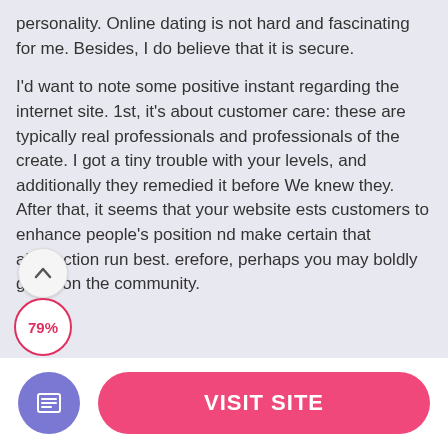personality. Online dating is not hard and fascinating for me. Besides, I do believe that it is secure.

I'd want to note some positive instant regarding the internet site. 1st, it's about customer care: these are typically real professionals and professionals of the create. I got a tiny trouble with your levels, and additionally they remedied it before We knew they. After that, it seems that your website ests customers to enhance people's position nd make certain that abstraction run best. erefore, perhaps you may boldly get in on the community.
[Figure (other): Scroll-up chevron circular button and 79% rating bubble overlaid on text]
[Figure (other): Bottom bar with purple document icon button and pink VISIT SITE rounded button]